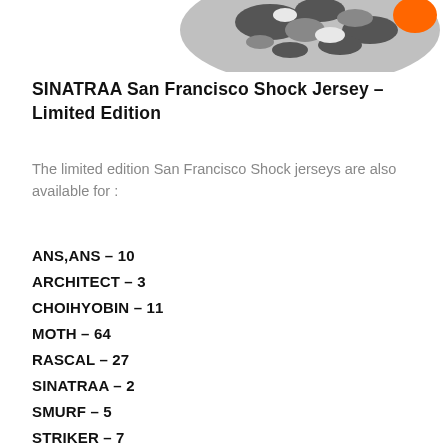[Figure (photo): Partial view of a camouflage and orange San Francisco Shock jersey/item at the top of the page]
SINATRAA San Francisco Shock Jersey – Limited Edition
The limited edition San Francisco Shock jerseys are also available for :
ANS,ANS – 10
ARCHITECT – 3
CHOIHYOBIN – 11
MOTH – 64
RASCAL – 27
SINATRAA – 2
SMURF – 5
STRIKER – 7
SUPER – 1